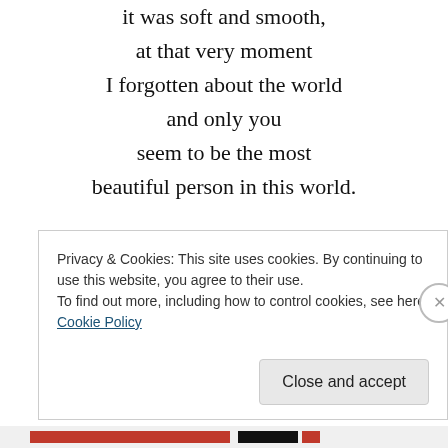it was soft and smooth,
at that very moment
I forgotten about the world
and only you
seem to be the most
beautiful person in this world.

I bit gently on your neck
tears came out from both sides
I can't stop now
not anymore
Privacy & Cookies: This site uses cookies. By continuing to use this website, you agree to their use.
To find out more, including how to control cookies, see here: Cookie Policy
Close and accept